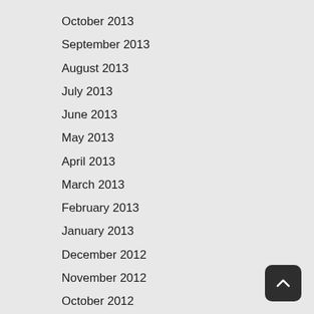October 2013
September 2013
August 2013
July 2013
June 2013
May 2013
April 2013
March 2013
February 2013
January 2013
December 2012
November 2012
October 2012
September 2012
August 2012
July 2012
June 2012